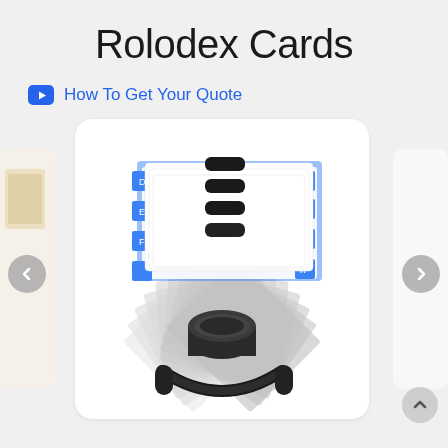Rolodex Cards
How To Get Your Quote
[Figure (photo): A Rolodex rotary card file with white cards fanned out, blue alphabetical index tabs visible, and a black metal base/spindle, photographed on a white background inside a rounded white card in a carousel interface with left/right navigation arrows.]